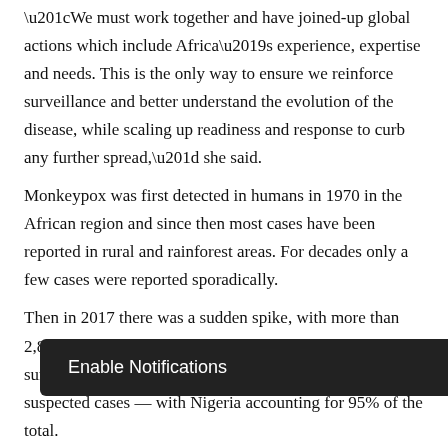“We must work together and have joined-up global actions which include Africa’s experience, expertise and needs. This is the only way to ensure we reinforce surveillance and better understand the evolution of the disease, while scaling up readiness and response to curb any further spread,” she said.
Monkeypox was first detected in humans in 1970 in the African region and since then most cases have been reported in rural and rainforest areas. For decades only a few cases were reported sporadically.
Then in 2017 there was a sudden spike, with more than 2,800 suspected cases reported in five countries. This surge continued, peaking in 2020 with more than 6,300 suspected cases — with Nigeria accounting for 95% of the total.
[Figure (screenshot): Browser notification prompt bar with dark background reading 'Enable Notifications' with 'OK' and 'No thanks' options]